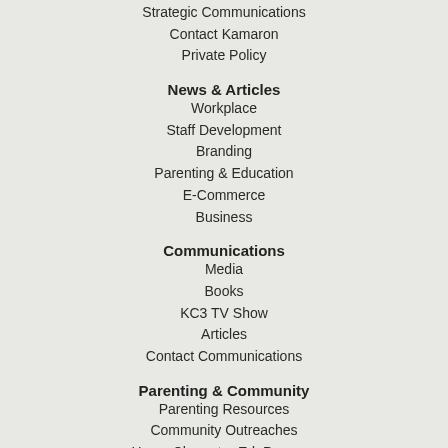Strategic Communications
Contact Kamaron
Private Policy
News & Articles
Workplace
Staff Development
Branding
Parenting & Education
E-Commerce
Business
Communications
Media
Books
KC3 TV Show
Articles
Contact Communications
Parenting & Community
Parenting Resources
Community Outreaches
Home Character Ed. Program
Citizenship Partnership
Casey Military Gift e-Book